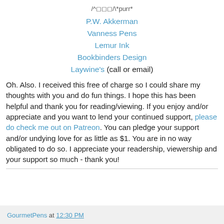/^⬜⬜⬜/\*purr*
P.W. Akkerman
Vanness Pens
Lemur Ink
Bookbinders Design
Laywine's (call or email)
Oh. Also. I received this free of charge so I could share my thoughts with you and do fun things. I hope this has been helpful and thank you for reading/viewing. If you enjoy and/or appreciate and you want to lend your continued support, please do check me out on Patreon. You can pledge your support and/or undying love for as little as $1. You are in no way obligated to do so. I appreciate your readership, viewership and your support so much - thank you!
GourmetPens at 12:30 PM